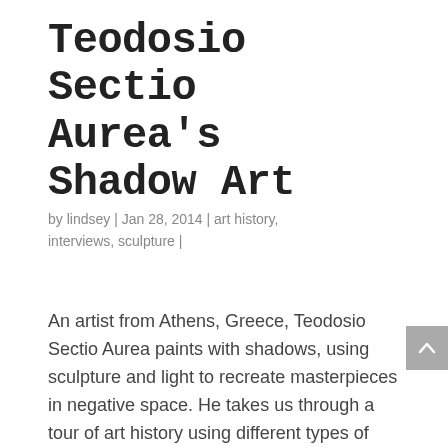Teodosio Sectio Aurea's Shadow Art
by lindsey | Jan 28, 2014 | art history, interviews, sculpture |
An artist from Athens, Greece, Teodosio Sectio Aurea paints with shadows, using sculpture and light to recreate masterpieces in negative space. He takes us through a tour of art history using different types of sculpture to match each shadow — thick black metal for "Guernica," a cherry blossom tree forms a woman in "Akina – spring flower," and DNA beads form the "Vitruvian Man."